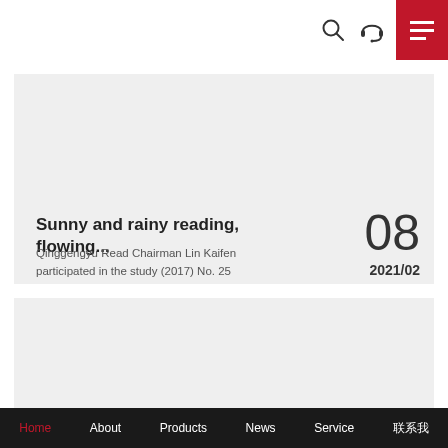Navigation header with search, headset, and menu icons
[Figure (screenshot): Light gray card area with image placeholder at top]
Sunny and rainy reading, flowing...
Qinggengyu Read Chairman Lin Kaifen participated in the study (2017) No. 25
08
2021/02
[Figure (screenshot): Light gray card area, second card image placeholder]
Home  About  Products  News  Service  联系我